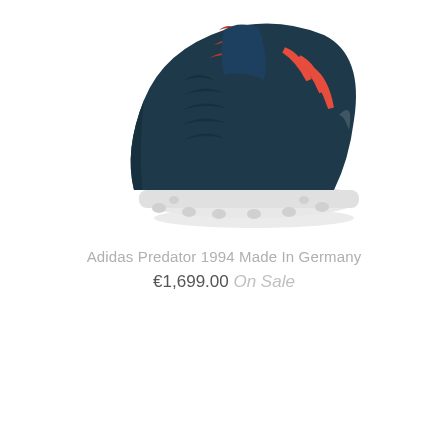[Figure (photo): Adidas Predator 1994 football boot/cleat in dark navy blue with red Adidas stripes and white sole, photographed on white background, shown from a side/top angle]
Adidas Predator 1994 Made In Germany
€1,699.00 On Sale